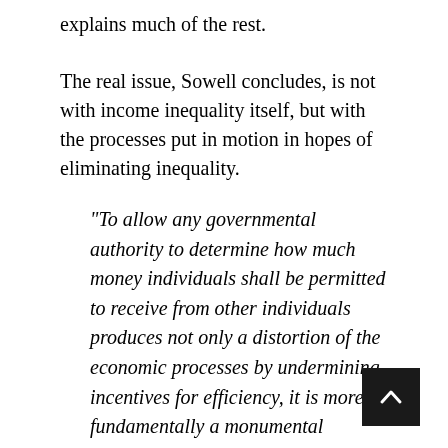explains much of the rest.
The real issue, Sowell concludes, is not with income inequality itself, but with the processes put in motion in hopes of eliminating inequality.
“To allow any governmental authority to determine how much money individuals shall be permitted to receive from other individuals produces not only a distortion of the economic processes by undermining incentives for efficiency, it is more fundamentally a monumental concentration of political power which reduces everyone to the level of a client of politicians.”
Moreover, the culture of envy created by income inequality obsessions can harm the very groups SJWs purport to want to help. Attributing the “greater prosperity of others to ‘exploitation’ of people like themselves, to oppression, bias or unworthy motives